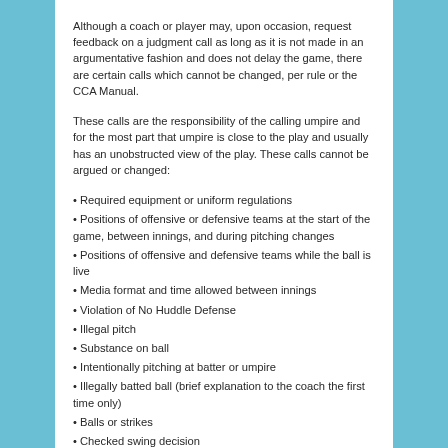Although a coach or player may, upon occasion, request feedback on a judgment call as long as it is not made in an argumentative fashion and does not delay the game, there are certain calls which cannot be changed, per rule or the CCA Manual.
These calls are the responsibility of the calling umpire and for the most part that umpire is close to the play and usually has an unobstructed view of the play. These calls cannot be argued or changed:
Required equipment or uniform regulations
Positions of offensive or defensive teams at the start of the game, between innings, and during pitching changes
Positions of offensive and defensive teams while the ball is live
Media format and time allowed between innings
Violation of No Huddle Defense
Illegal pitch
Substance on ball
Intentionally pitching at batter or umpire
Illegally batted ball (brief explanation to the coach the first time only)
Balls or strikes
Checked swing decision